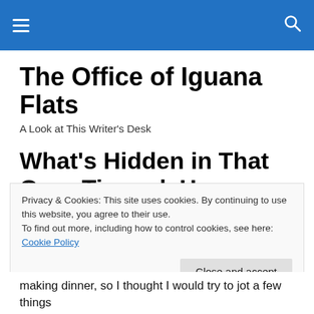☰ 🔍
The Office of Iguana Flats
A Look at This Writer's Desk
What's Hidden in That Oreo Tin and, Hey What's in That Oreo Tin?
Privacy & Cookies: This site uses cookies. By continuing to use this website, you agree to their use.
To find out more, including how to control cookies, see here: Cookie Policy
Close and accept
making dinner, so I thought I would try to jot a few things